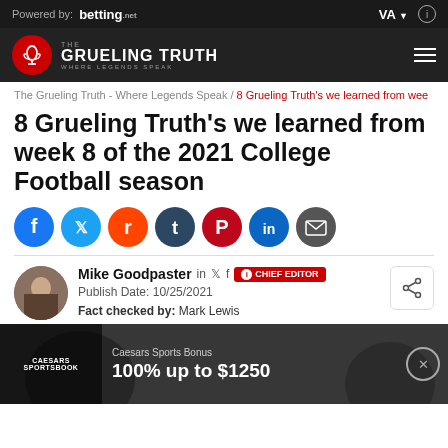Powered by: betting.net | VA | (i)
[Figure (logo): The Grueling Truth logo with microphone icon, tagline WHERE LEGENDS SPEAK, and hamburger menu]
The Grueling Truth - Where Legends Speak / 8 Grueling Truth's we learned from wee
8 Grueling Truth's we learned from week 8 of the 2021 College Football season
[Figure (infographic): Social share icons: Facebook, Twitter, Reddit, Tumblr, Pinterest, LinkedIn, Email]
Mike Goodpaster  in  [twitter]  [facebook]  CHIEF EDITOR
Publish Date: 10/25/2021
Fact checked by: Mark Lewis
[Figure (photo): Football players image with Caesars Sportsbook advertisement overlay showing 100% up to $1250 bonus offer]